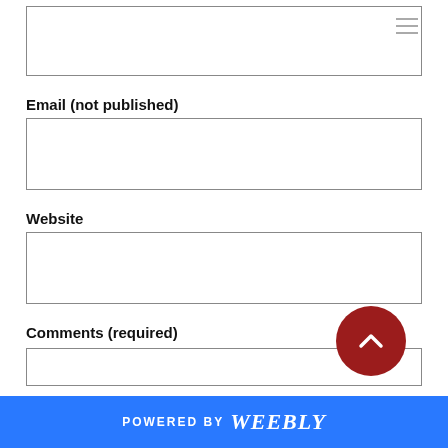[Figure (screenshot): Empty text input box at top of form, with hamburger menu icon in top-right corner]
Email (not published)
[Figure (screenshot): Empty email input text box]
Website
[Figure (screenshot): Empty website input text box]
Comments (required)
[Figure (screenshot): Large empty comments textarea with a dark red circular scroll-to-top button]
POWERED BY weebly